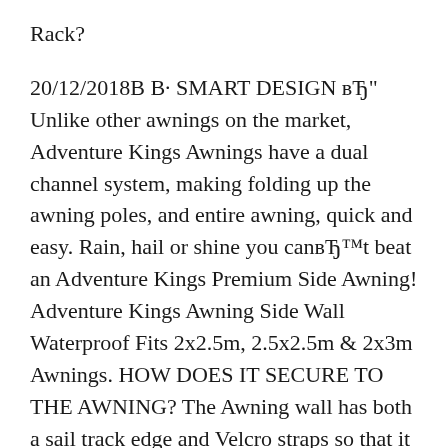Rack?
20/12/2018В В· SMART DESIGN вЂ" Unlike other awnings on the market, Adventure Kings Awnings have a dual channel system, making folding up the awning poles, and entire awning, quick and easy. Rain, hail or shine you canвЂ™t beat an Adventure Kings Premium Side Awning! Adventure Kings Awning Side Wall Waterproof Fits 2x2.5m, 2.5x2.5m & 2x3m Awnings. HOW DOES IT SECURE TO THE AWNING? The Awning wall has both a sail track edge and Velcro straps so that it can attach to both the front edge and side of an Adventure Kings awning.
ARB Awning & Light Kit. All packed up into one box kit, the ARB Awning & Light Kit includes the ARB Awning & Light Kit includes the